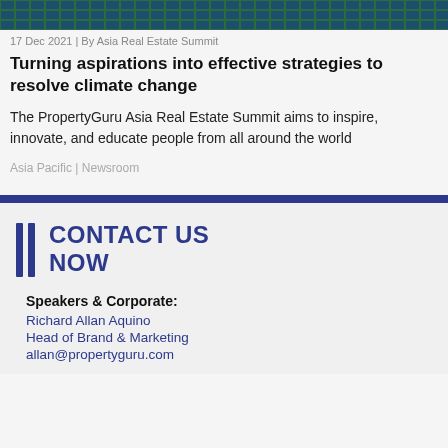[Figure (photo): Aerial view of solar panels or structured green/blue rooftops]
17 Dec 2021 | By Asia Real Estate Summit
Turning aspirations into effective strategies to resolve climate change
The PropertyGuru Asia Real Estate Summit aims to inspire, innovate, and educate people from all around the world
Asia Pacific | Newsroom
CONTACT US NOW
Speakers & Corporate:
Richard Allan Aquino
Head of Brand & Marketing
allan@propertyguru.com